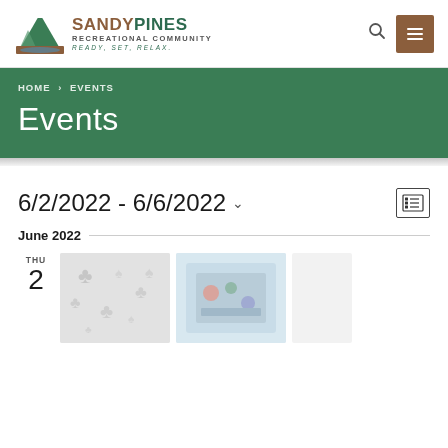[Figure (logo): Sandy Pines Recreational Community logo with pine tree graphic and text. Tagline: READY, SET, RELAX.]
HOME > EVENTS
Events
6/2/2022 - 6/6/2022
June 2022
THU
2
[Figure (photo): Event thumbnail images showing playing cards and board game graphics]
[Figure (photo): Event thumbnail image partially visible on right edge]